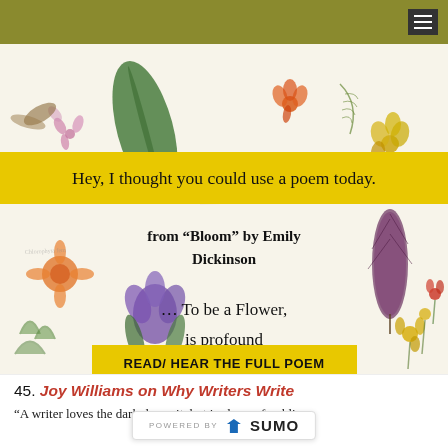Navigation bar with menu icon
[Figure (illustration): Botanical illustration background with pressed flowers, leaves, ferns, and botanical specimens on cream/white background]
Hey, I thought you could use a poem today.
from "Bloom" by Emily Dickinson
… To be a Flower, / is profound / Responsibility —
READ/ HEAR THE FULL POEM
45. Joy Williams on Why Writers Write
"A writer loves the dark, loves it, but is always fumbling
[Figure (logo): POWERED BY SUMO logo bar with crown icon]